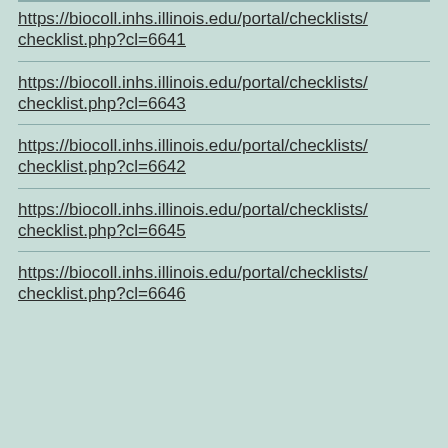https://biocoll.inhs.illinois.edu/portal/checklists/checklist.php?cl=6641
https://biocoll.inhs.illinois.edu/portal/checklists/checklist.php?cl=6643
https://biocoll.inhs.illinois.edu/portal/checklists/checklist.php?cl=6642
https://biocoll.inhs.illinois.edu/portal/checklists/checklist.php?cl=6645
https://biocoll.inhs.illinois.edu/portal/checklists/checklist.php?cl=6646